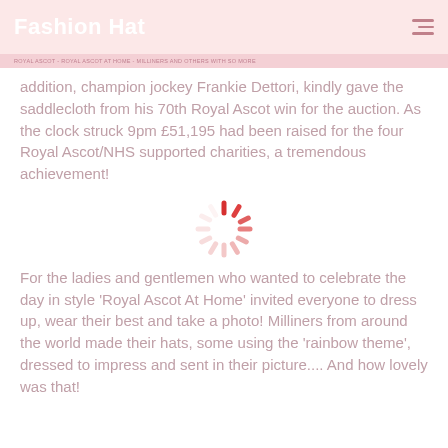Fashion Hat
addition, champion jockey Frankie Dettori, kindly gave the saddlecloth from his 70th Royal Ascot win for the auction. As the clock struck 9pm £51,195 had been raised for the four Royal Ascot/NHS supported charities, a tremendous achievement!
[Figure (other): Loading spinner graphic with red and pink dashes arranged in a circle]
For the ladies and gentlemen who wanted to celebrate the day in style 'Royal Ascot At Home' invited everyone to dress up, wear their best and take a photo!  Milliners from around the world made their hats, some using the 'rainbow theme', dressed to impress and sent in their picture.... And how lovely was that!